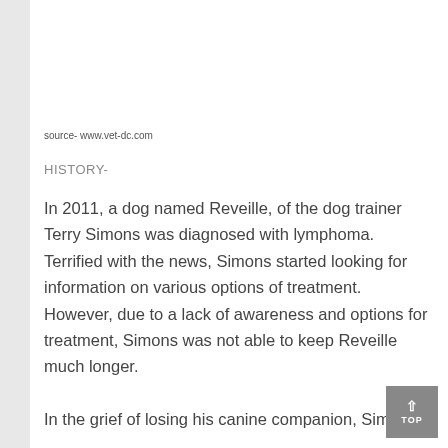source- www.vet-dc.com
HISTORY-
In 2011, a dog named Reveille, of the dog trainer Terry Simons was diagnosed with lymphoma. Terrified with the news, Simons started looking for information on various options of treatment. However, due to a lack of awareness and options for treatment, Simons was not able to keep Reveille much longer.
In the grief of losing his canine companion, Simons